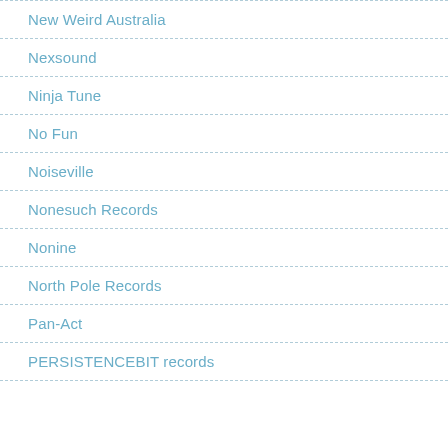New Weird Australia
Nexsound
Ninja Tune
No Fun
Noiseville
Nonesuch Records
Nonine
North Pole Records
Pan-Act
PERSISTENCEBIT records